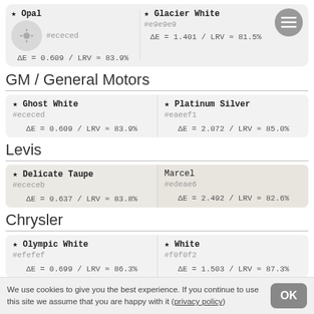[Figure (infographic): Top card showing Opal (#ececed) and Glacier White (#e9e9e9) paint colors with delta E and LRV values]
GM / General Motors
| ★ Ghost White
#ececed
ΔE = 0.609 / LRV ≈ 83.9% | ★ Platinum Silver
#eaeef1
ΔE = 2.072 / LRV ≈ 85.0% |
Levis
| ★ Delicate Taupe
#ececeb
ΔE = 0.637 / LRV ≈ 83.8% | Marcel
#edeae6
ΔE = 2.492 / LRV ≈ 82.6% |
Chrysler
| ★ Olympic White
#efefef
ΔE = 0.699 / LRV ≈ 86.3% | ★ White
#f0f0f2
ΔE = 1.503 / LRV ≈ 87.3% |
We use cookies to give you the best experience. If you continue to use this site we assume that you are happy with it (privacy policy)